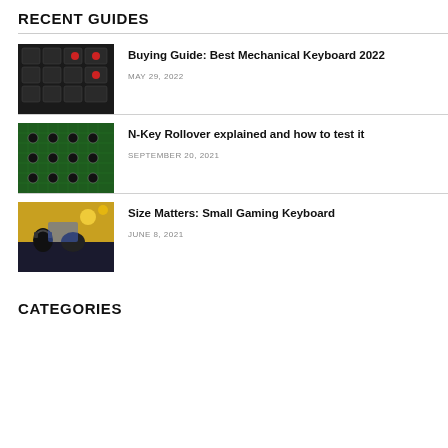RECENT GUIDES
[Figure (photo): Close-up photo of mechanical keyboard keys with red switches]
Buying Guide: Best Mechanical Keyboard 2022
MAY 29, 2022
[Figure (photo): Green circuit board / PCB of a keyboard]
N-Key Rollover explained and how to test it
SEPTEMBER 20, 2021
[Figure (photo): Gaming scene with players wearing headsets at computers]
Size Matters: Small Gaming Keyboard
JUNE 8, 2021
CATEGORIES